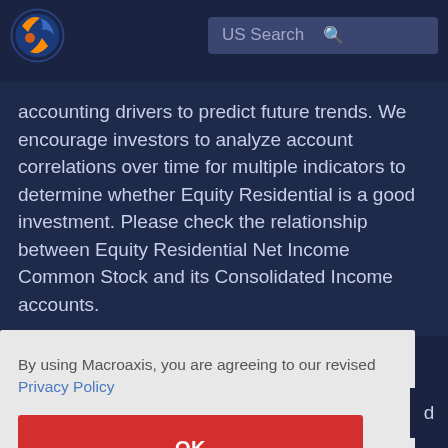[Figure (logo): Macroaxis logo — circular globe icon with orange and blue design]
US Search
accounting drivers to predict future trends. We encourage investors to analyze account correlations over time for multiple indicators to determine whether Equity Residential is a good investment. Please check the relationship between Equity Residential Net Income Common Stock and its Consolidated Income accounts.
By using Macroaxis, you are agreeing to our revised Privacy Policy
OK